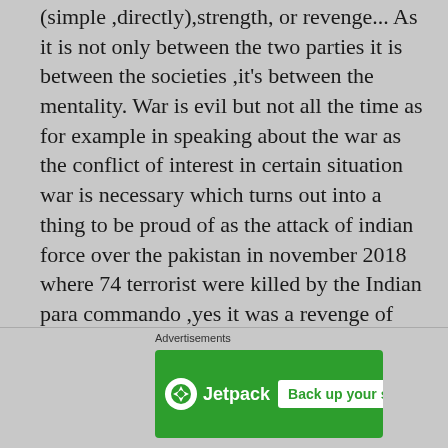(simple ,directly),strength, or revenge... As it is not only between the two parties it is between the societies ,it's between the mentality. War is evil but not all the time as for example in speaking about the war as the conflict of interest in certain situation war is necessary which turns out into a thing to be proud of as the attack of indian force over the pakistan in november 2018 where 74 terrorist were killed by the Indian para commando ,yes it was a revenge of india but its good in the sense that they entered in their land and destroyed the whole terrorist cell of about the whole village it was all under the president's order and all came back safely and had dinner with the president that shows the strength and
Advertisements
[Figure (infographic): Jetpack advertisement banner with lightning bolt logo and 'Back up your site' button on green background]